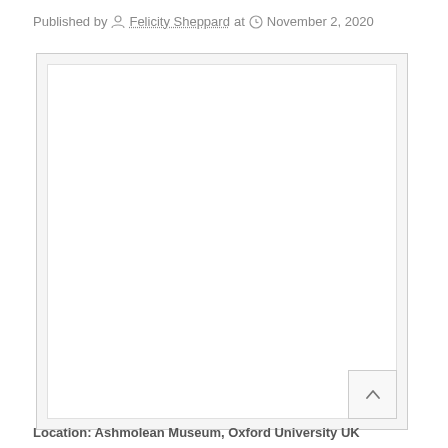Published by Felicity Sheppard at November 2, 2020
[Figure (photo): A white/blank image placeholder inside a light gray bordered box, with a scroll-to-top button in the bottom right corner]
Location: Ashmolean Museum, Oxford University UK